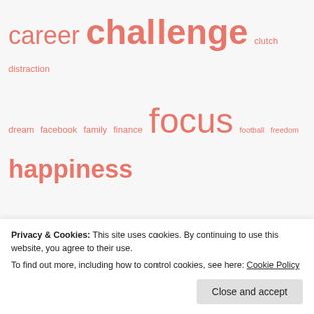[Figure (infographic): Word cloud with salmon/coral colored words of varying sizes representing topics: career, challenge, clutch, distraction, dream, facebook, family, finance, focus, football, freedom, happiness, happy, impact, inner strength, innovation, instagram, job, lay off, Lessons Learnt From The World Cup, life, mental strength, mental toughness, mind, motivational, monday, passion, performance, personal development, personal finance, potential, pressure, productivity, psychology, quit your job, rich life, richness, signs that it, strength (partial), and more]
Privacy & Cookies: This site uses cookies. By continuing to use this website, you agree to their use.
To find out more, including how to control cookies, see here: Cookie Policy